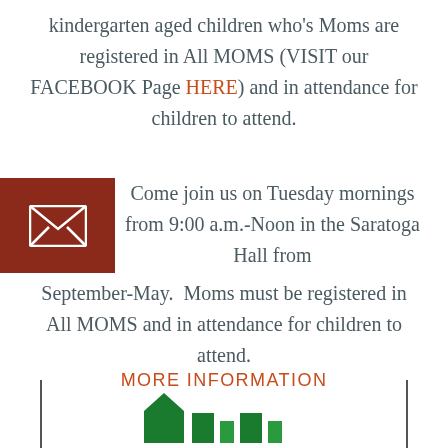kindergarten aged children who's Moms are registered in All MOMS (VISIT our FACEBOOK Page HERE) and in attendance for children to attend.
Come join us on Tuesday mornings from 9:00 a.m.-Noon in the Saratoga Hall from September-May.  Moms must be registered in All MOMS and in attendance for children to attend.
MORE INFORMATION
[Figure (logo): All MOMS organization logo at bottom of page, partially visible, green letters on white background with vertical border lines on left and right]